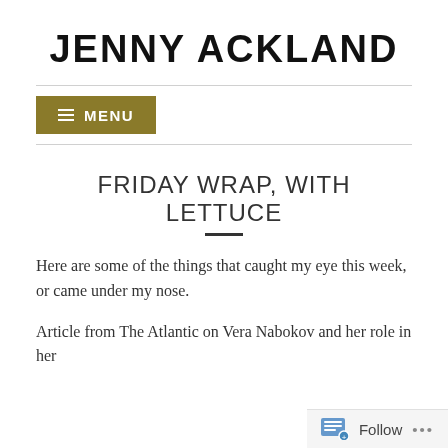JENNY ACKLAND
≡ MENU
FRIDAY WRAP, WITH LETTUCE
Here are some of the things that caught my eye this week, or came under my nose.
Article from The Atlantic on Vera Nabokov and her role in her